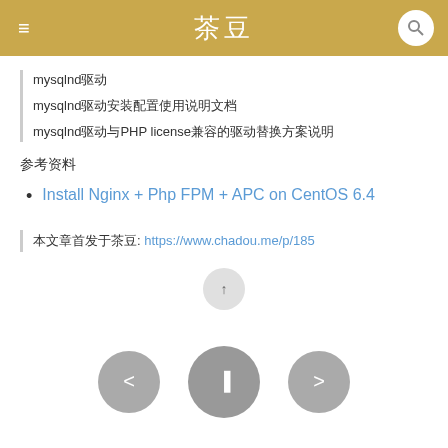茶豆
mysqlnd驱动
mysqlnd驱动安装配置使用说明文档
mysqlnd驱动与PHP license兼容的驱动替换方案说明
参考资料
Install Nginx + Php FPM + APC on CentOS 6.4
本文章首发于茶豆: https://www.chadou.me/p/185